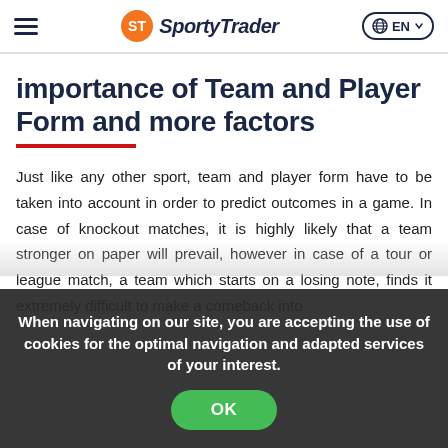SportyTrader — EN
importance of Team and Player Form and more factors
Just like any other sport, team and player form have to be taken into account in order to predict outcomes in a game. In case of knockout matches, it is highly likely that a team stronger on paper will prevail, however in case of a tour or league match, a team which starts on a losing note, finds it extremely difficult to make a comeback into
When navigating on our site, you are accepting the use of cookies for the optimal navigation and adapted services of your interest.